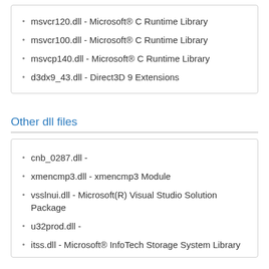msvcr120.dll - Microsoft® C Runtime Library
msvcr100.dll - Microsoft® C Runtime Library
msvcp140.dll - Microsoft® C Runtime Library
d3dx9_43.dll - Direct3D 9 Extensions
Other dll files
cnb_0287.dll -
xmencmp3.dll - xmencmp3 Module
vsslnui.dll - Microsoft(R) Visual Studio Solution Package
u32prod.dll -
itss.dll - Microsoft® InfoTech Storage System Library